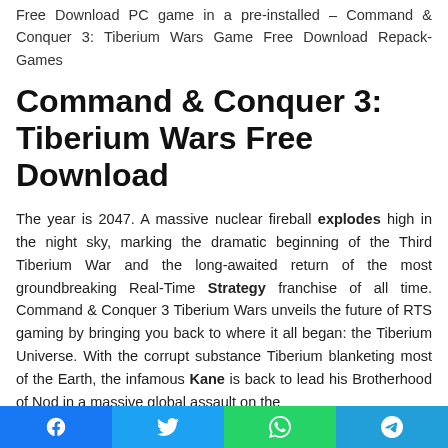Free Download PC game in a pre-installed – Command & Conquer 3: Tiberium Wars Game Free Download Repack-Games
Command & Conquer 3: Tiberium Wars Free Download
The year is 2047. A massive nuclear fireball explodes high in the night sky, marking the dramatic beginning of the Third Tiberium War and the long-awaited return of the most groundbreaking Real-Time Strategy franchise of all time. Command & Conquer 3 Tiberium Wars unveils the future of RTS gaming by bringing you back to where it all began: the Tiberium Universe. With the corrupt substance Tiberium blanketing most of the Earth, the infamous Kane is back to lead his Brotherhood of Nod in a massive global assault on the
Facebook Twitter WhatsApp Telegram